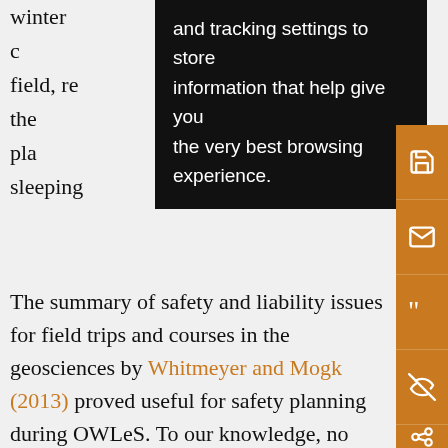winter c[...] field, re[...] and the pla[...] sleeping[...]
[Figure (screenshot): Black tooltip overlay with white text reading: 'and tracking settings to store information that help give you the very best browsing experience.']
The summary of safety and liability issues for field trips and courses in the geosciences by Whitmeyer and Mogk (2013) proved useful for safety planning during OWLeS. To our knowledge, no such summary exists for the atmospheric sciences. Atmospheric field campaigns offer unique safety issues related to severe weather, extended operations beyond normal duty cycles, overnight operations, and, for winter campaigns, travel on snow- or ice-covered roads. A community effort to develop field-program safety guidelines, including those conducted in winter environments, could prove beneficial and help limit